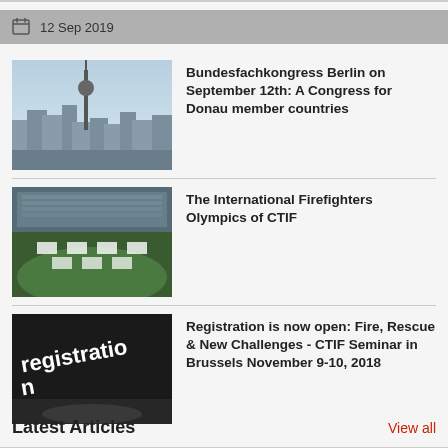12 Sep 2019
Bundesfachkongress Berlin on September 12th: A Congress for Donau member countries
[Figure (photo): Aerial view of Berlin skyline with TV tower]
The International Firefighters Olympics of CTIF
[Figure (photo): Sports stadium with large groups of people in formation on the field]
Registration is now open: Fire, Rescue & New Challenges - CTIF Seminar in Brussels November 9-10, 2018
[Figure (photo): Close-up of a registration badge or lanyard with text 'registration']
Latest Articles
View all